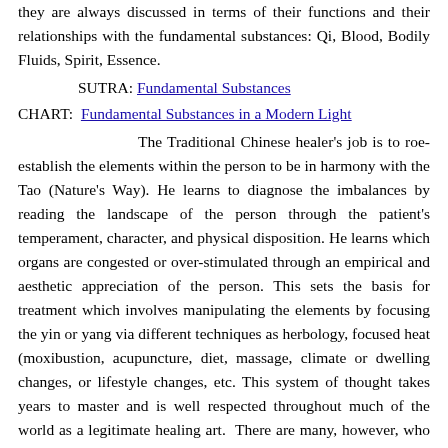they are always discussed in terms of their functions and their relationships with the fundamental substances: Qi, Blood, Bodily Fluids, Spirit, Essence.
SUTRA: Fundamental Substances
CHART:  Fundamental Substances in a Modern Light
The Traditional Chinese healer's job is to roe-establish the elements within the person to be in harmony with the Tao (Nature's Way). He learns to diagnose the imbalances by reading the landscape of the person through the patient's temperament, character, and physical disposition. He learns which organs are congested or over-stimulated through an empirical and aesthetic appreciation of the person. This sets the basis for treatment which involves manipulating the elements by focusing the yin or yang via different techniques as herbology, focused heat (moxibustion, acupuncture, diet, massage, climate or dwelling changes, or lifestyle changes, etc. This system of thought takes years to master and is well respected throughout much of the world as a legitimate healing art.  There are many, however, who are unwilling to concede to the legitimacy of such healing systems. They claim that it does not lend itself to the scientific rigor necessary to be established as a true science of healing. Ted Kaptchuk responds to this catholic religion,